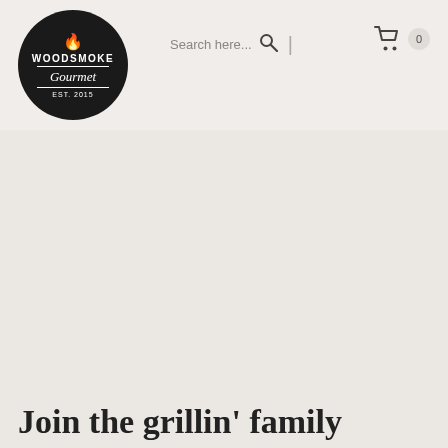[Figure (logo): Woodsmoke Gourmet circular logo with flame icon, EST. 2015, on black background]
Search here...
Join the grillin' family